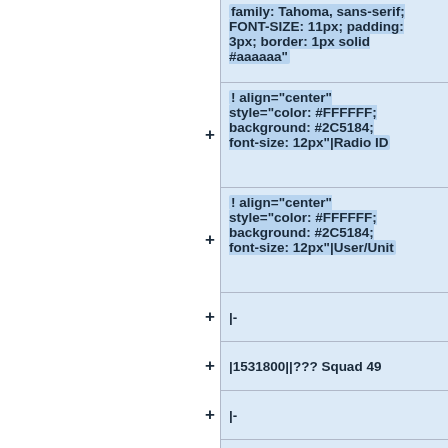family: Tahoma, sans-serif; FONT-SIZE: 11px; padding: 3px; border: 1px solid #aaaaaa"
! align="center" style="color: #FFFFFF; background: #2C5184; font-size: 12px"|Radio ID
! align="center" style="color: #FFFFFF; background: #2C5184; font-size: 12px"|User/Unit
|-
|1531800||??? Squad 49
|-
|}
+